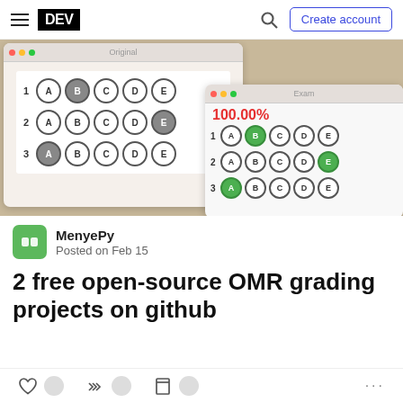DEV | Create account
[Figure (screenshot): Screenshot showing two windows side by side: 'Original' window with an OMR answer sheet (bubbles filled for rows 1B, 2E, 3A) and 'Exam' window showing 100.00% score with correct answers highlighted in green (1B, 2E, 3A).]
MenyePy
Posted on Feb 15
2 free open-source OMR grading projects on github